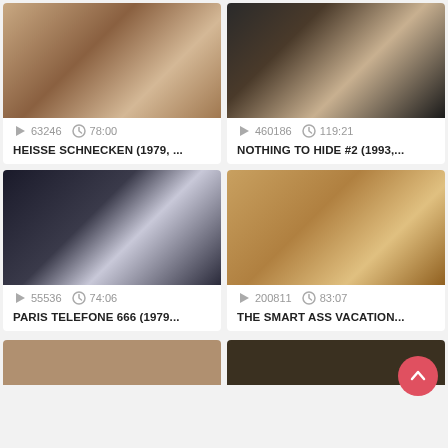[Figure (photo): Thumbnail image for Heisse Schnecken video]
63246  78:00
HEISSE SCHNECKEN (1979, ...
[Figure (photo): Thumbnail image for Nothing to Hide #2 video]
460186  119:21
NOTHING TO HIDE #2 (1993,...
[Figure (photo): Thumbnail image for Paris Telefone 666 video]
55536  74:06
PARIS TELEFONE 666 (1979...
[Figure (photo): Thumbnail image for The Smart Ass Vacation video]
200811  83:07
THE SMART ASS VACATION...